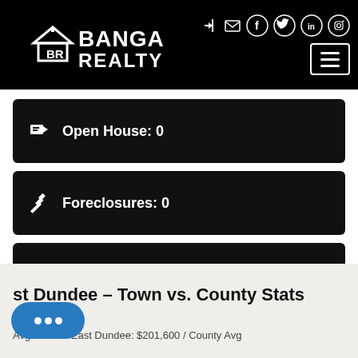[Figure (logo): Banga Realty logo with house/BR icon and navigation bar icons including login, mail, Facebook, Twitter, LinkedIn, Instagram, and hamburger menu]
Open House: 0
Foreclosures: 0
Short Sales: 0
East Dundee - Town vs. County Stats
Avg Price in East Dundee: $201,600 / County Avg